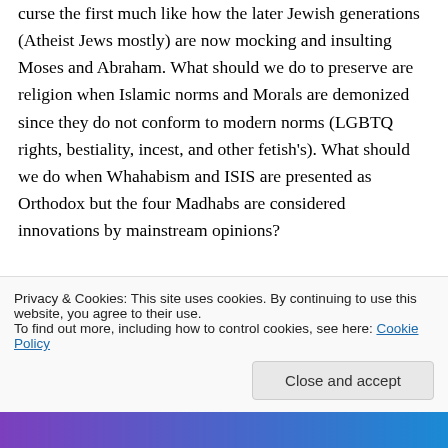curse the first much like how the later Jewish generations (Atheist Jews mostly) are now mocking and insulting Moses and Abraham. What should we do to preserve are religion when Islamic norms and Morals are demonized since they do not conform to modern norms (LGBTQ rights, bestiality, incest, and other fetish's). What should we do when Whahabism and ISIS are presented as Orthodox but the four Madhabs are considered innovations by mainstream opinions?
↵ Reply
Privacy & Cookies: This site uses cookies. By continuing to use this website, you agree to their use.
To find out more, including how to control cookies, see here: Cookie Policy
Close and accept